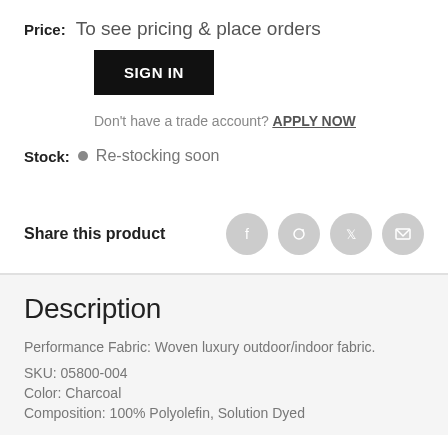Price:  To see pricing & place orders
SIGN IN
Don't have a trade account? APPLY NOW
Stock:  Re-stocking soon
Share this product
Description
Performance Fabric: Woven luxury outdoor/indoor fabric.
SKU:  05800-004
Color: Charcoal
Composition: 100% Polyolefin, Solution Dyed